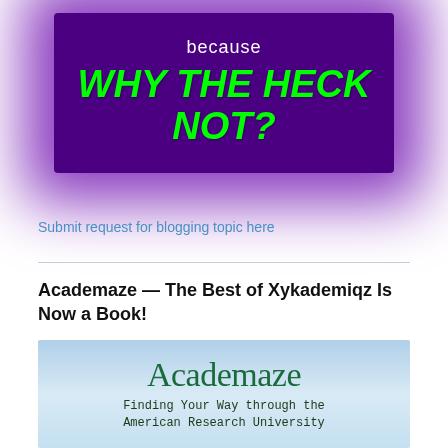[Figure (illustration): Purple box with glowing violet aura on white background. Inside the box: white text 'because' above bright green italic bold text 'WHY THE HECK NOT?']
Submit request for blogging topic here
Academaze — The Best of Xykademiqz Is Now a Book!
[Figure (illustration): Book cover for 'Academaze: Finding Your Way through the American Research University'. Light blue gradient background with green serif font for title and dark monospace font for subtitle.]